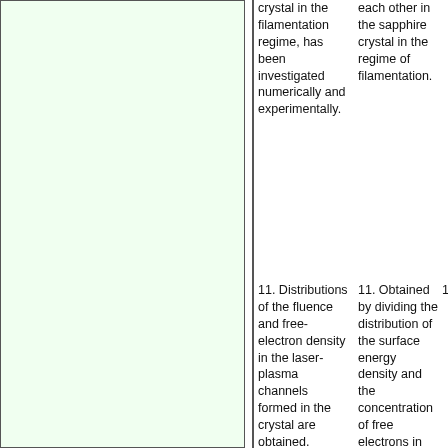crystal in the filamentation regime, has been investigated numerically and experimentally.
each other in the sapphire crystal in the regime of filamentation.
11. Distributions of the fluence and free-electron density in the laser-plasma channels formed in the crystal are obtained.
11. Obtained by dividing the distribution of the surface energy density and the concentration of free electrons in laser-produced plasma channels.
15
12. Additional filaments are found to form outside the plane of initial pulse propagation.
12. Revealed the formation of additional filaments outside the plane of the initial distribution of momenta.
9/
13. Keywords:
13. Keywords:
12